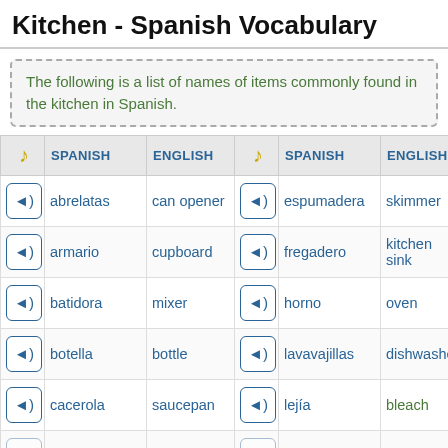Kitchen - Spanish Vocabulary
The following is a list of names of items commonly found in the kitchen in Spanish.
| [audio] | SPANISH | ENGLISH | [audio] | SPANISH | ENGLISH |
| --- | --- | --- | --- | --- | --- |
| [audio] | abrelatas | can opener | [audio] | espumadera | skimmer |
| [audio] | armario | cupboard | [audio] | fregadero | kitchen sink |
| [audio] | batidora | mixer | [audio] | horno | oven |
| [audio] | botella | bottle | [audio] | lavavajillas | dishwasher |
| [audio] | cacerola | saucepan | [audio] | lejía | bleach |
| [audio] | coffee... |  | [audio] |  |  |